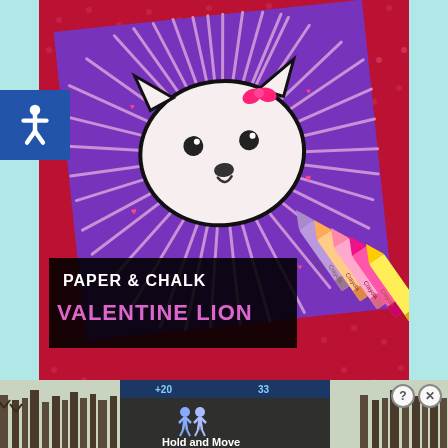[Figure (photo): A lion art project made from purple construction paper with a drawn cat/lion face in the center, surrounded by chalk-drawn radiating lines resembling a mane, on a red polka-dot background. Several crayons are arranged to the right. Text overlay reads 'PAPER & CHALK VALENTINE LION'.]
Paper & Chalk Valentine Lion Art Project For Kids
[Figure (photo): Bottom advertisement bar showing an outdoor winter scene with trees, a dark overlay panel with person/walking icon and text 'Hold and Move', with question mark and X buttons.]